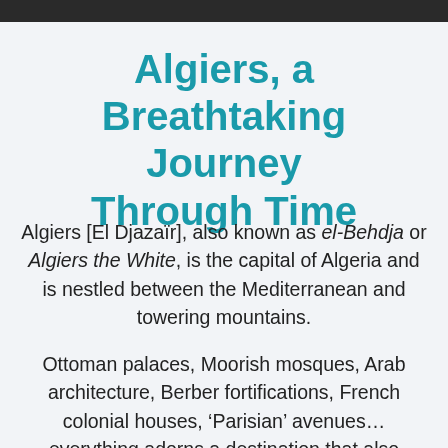[Figure (photo): Dark photograph strip at the top of the page]
Algiers, a Breathtaking Journey Through Time
Algiers [El Djazaïr], also known as el-Behdja or Algiers the White, is the capital of Algeria and is nestled between the Mediterranean and towering mountains.
Ottoman palaces, Moorish mosques, Arab architecture, Berber fortifications, French colonial houses, ‘Parisian’ avenues… everything adorns a destination that also stands out for the mysterious Moor...